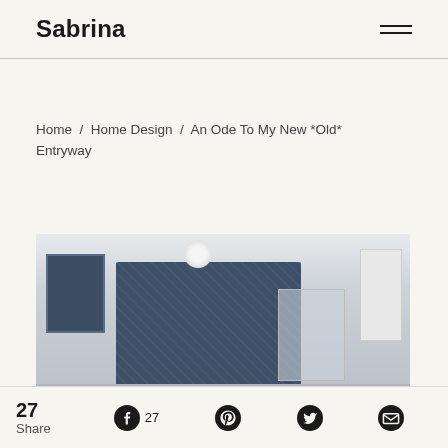Sabrina
Home / Home Design / An Ode To My New *Old* Entryway
[Figure (photo): Entryway room photo showing a dark blue textured wall panel, ceiling light fixture, framed art on the left, and decorative elements on the right]
27 Share  Facebook 27  Pinterest  Twitter  Email